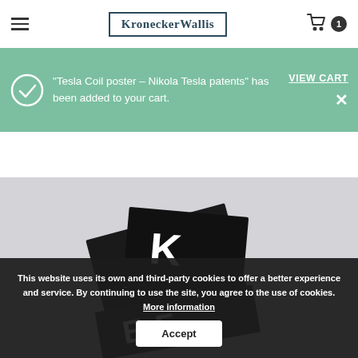KroneckerWallis
“Tesla Coil poster – Nikola Tesla patents” has been added to your cart.
VIEW CART
[Figure (photo): Black and white graphic design books/posters stacked at an angle on a light grey background]
This website uses its own and third-party cookies to offer a better experience and service. By continuing to use the site, you agree to the use of cookies. More information
Accept